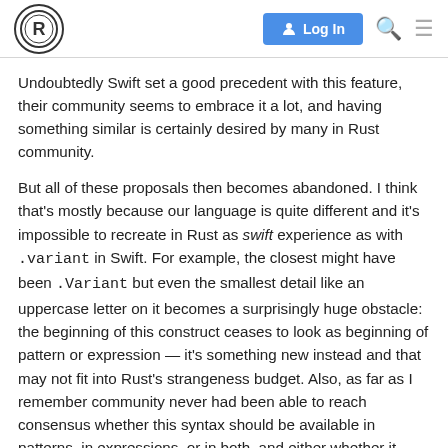Rust community forum header with logo, Log In button, search and menu icons
Undoubtedly Swift set a good precedent with this feature, their community seems to embrace it a lot, and having something similar is certainly desired by many in Rust community.
But all of these proposals then becomes abandoned. I think that's mostly because our language is quite different and it's impossible to recreate in Rust as swift experience as with .variant in Swift. For example, the closest might have been .Variant but even the smallest detail like an uppercase letter on it becomes a surprisingly huge obstacle: the beginning of this construct ceases to look as beginning of pattern or expression — it's something new instead and that may not fit into Rust's strangeness budget. Also, as far as I remember community never had been able to reach consensus whether this syntax should be available in patterns, in expressions, or in both, and either whether it should be available for structs, for enums, or for both; — it was determined that technica implement whatever combination we want
1 / 22